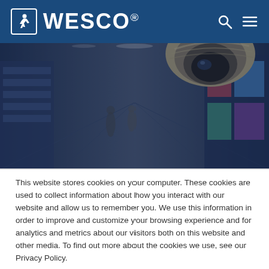[Figure (logo): WESCO logo with running figure icon on dark blue header background, with search and menu icons on the right]
[Figure (photo): Interior of a retail or commercial space with a dome security camera prominent in the upper right, people walking in the background, colorful displays on the sides, dark blue overlay tint]
This website stores cookies on your computer. These cookies are used to collect information about how you interact with our website and allow us to remember you. We use this information in order to improve and customize your browsing experience and for analytics and metrics about our visitors both on this website and other media. To find out more about the cookies we use, see our Privacy Policy.
Accept
Decline